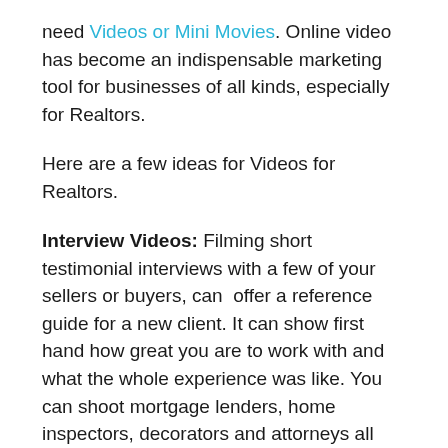need Videos or Mini Movies. Online video has become an indispensable marketing tool for businesses of all kinds, especially for Realtors.
Here are a few ideas for Videos for Realtors.
Interview Videos: Filming short testimonial interviews with a few of your sellers or buyers, can  offer a reference guide for a new client. It can show first hand how great you are to work with and what the whole experience was like. You can shoot mortgage lenders, home inspectors, decorators and attorneys all assuring in their performance. Include people and businesses that best fit the viewers